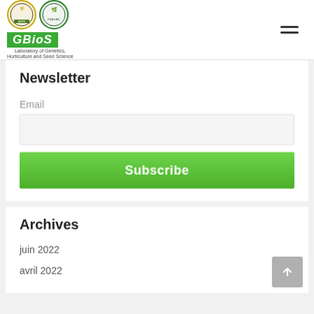[Figure (logo): GBioS Laboratory of Genetics, Horticulture and Seed Science logo with two institutional emblems]
Newsletter
Email
Archives
juin 2022
avril 2022